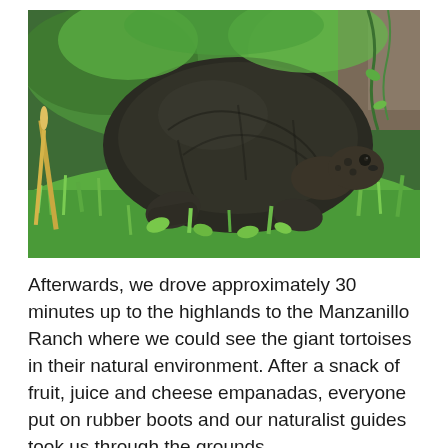[Figure (photo): A large Galápagos giant tortoise walking through lush green grass and vegetation, viewed from a low angle showing its large domed shell. The tortoise's head and front legs are visible. Background shows dense green plants and a rocky or wooden surface.]
Afterwards, we drove approximately 30 minutes up to the highlands to the Manzanillo Ranch where we could see the giant tortoises in their natural environment. After a snack of fruit, juice and cheese empanadas, everyone put on rubber boots and our naturalist guides took us through the grounds.